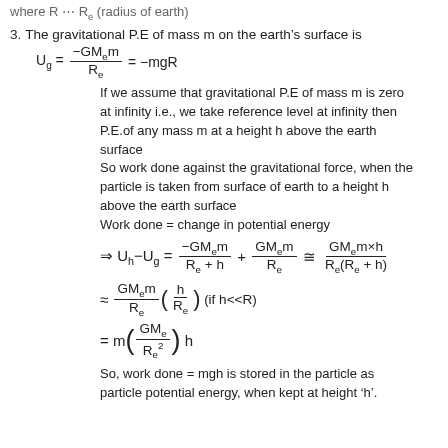where R = Re (radius of earth)
3. The gravitational P.E of mass m on the earth's surface is
If we assume that gravitational P.E of mass m is zero at infinity i.e., we take reference level at infinity then P.E.of any mass m at a height h above the earth surface
So work done against the gravitational force, when the particle is taken from surface of earth to a height h above the earth surface
Work done = change in potential energy
So, work done = mgh is stored in the particle as particle potential energy, when kept at height 'h'.